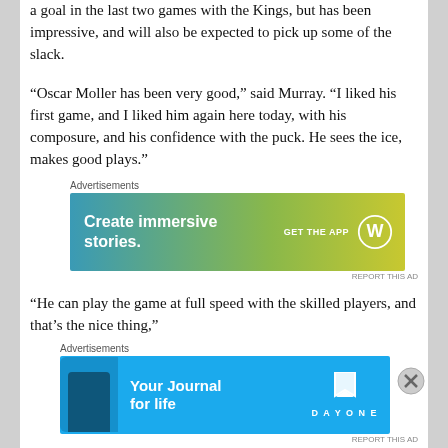a goal in the last two games with the Kings, but has been impressive, and will also be expected to pick up some of the slack.
“Oscar Moller has been very good,” said Murray. “I liked his first game, and I liked him again here today, with his composure, and his confidence with the puck. He sees the ice, makes good plays.”
[Figure (other): Advertisement banner for WordPress app: 'Create immersive stories. GET THE APP' with WordPress logo]
“He can play the game at full speed with the skilled players, and that’s the nice thing,”
[Figure (other): Advertisement banner for Day One app: 'Your Journal for life' with DAYONE branding and bookmark icon]